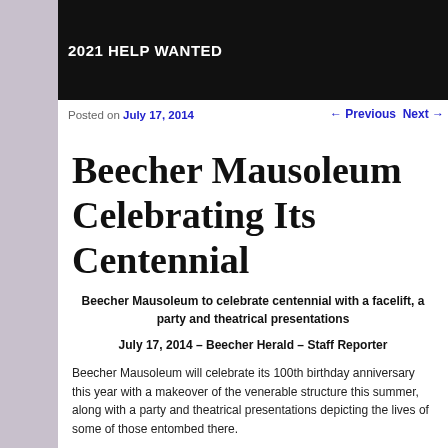2021 HELP WANTED
Posted on July 17, 2014    ← Previous   Next →
Beecher Mausoleum Celebrating Its Centennial
Beecher Mausoleum to celebrate centennial with a facelift, a party and theatrical presentations
July 17, 2014 – Beecher Herald – Staff Reporter
Beecher Mausoleum will celebrate its 100th birthday anniversary this year with a makeover of the venerable structure this summer, along with a party and theatrical presentations depicting the lives of some of those entombed there.